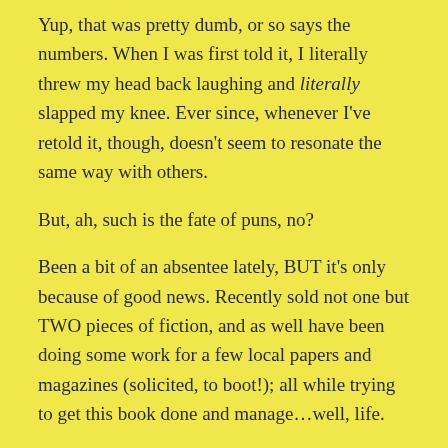Yup, that was pretty dumb, or so says the numbers. When I was first told it, I literally threw my head back laughing and literally slapped my knee. Ever since, whenever I've retold it, though, doesn't seem to resonate the same way with others.
But, ah, such is the fate of puns, no?
Been a bit of an absentee lately, BUT it's only because of good news. Recently sold not one but TWO pieces of fiction, and as well have been doing some work for a few local papers and magazines (solicited, to boot!); all while trying to get this book done and manage…well, life.
Beyond that, got a whole lot of noteworthy occurrences…